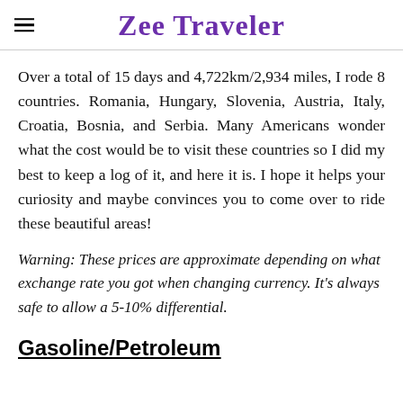Zee Traveler
Over a total of 15 days and 4,722km/2,934 miles, I rode 8 countries. Romania, Hungary, Slovenia, Austria, Italy, Croatia, Bosnia, and Serbia. Many Americans wonder what the cost would be to visit these countries so I did my best to keep a log of it, and here it is. I hope it helps your curiosity and maybe convinces you to come over to ride these beautiful areas!
Warning: These prices are approximate depending on what exchange rate you got when changing currency. It's always safe to allow a 5-10% differential.
Gasoline/Petroleum